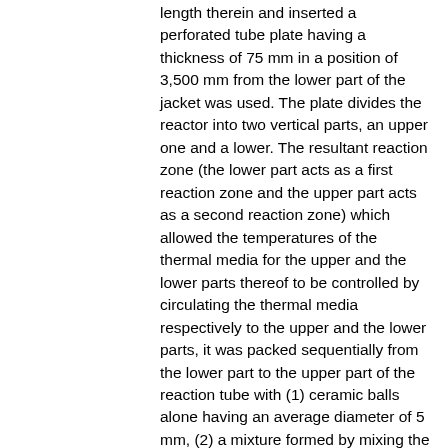length therein and inserted a perforated tube plate having a thickness of 75 mm in a position of 3,500 mm from the lower part of the jacket was used. The plate divides the reactor into two vertical parts, an upper one and a lower. The resultant reaction zone (the lower part acts as a first reaction zone and the upper part acts as a second reaction zone) which allowed the temperatures of the thermal media for the upper and the lower parts thereof to be controlled by circulating the thermal media respectively to the upper and the lower parts, it was packed sequentially from the lower part to the upper part of the reaction tube with (1) ceramic balls alone having an average diameter of 5 mm, (2) a mixture formed by mixing the catalyst (I) and ceramic balls of an average diameter of 5 mm at a volume ratio of 70 : 30, (3) the catalyst (I) alone, (4) Raschig rings made of stainless steel and measuring 5 mm in outside diameter, 4.5 mm in inside diameter, and 6 mm in length, (5) a mixture formed by mixing the catalyst (II) and ceramic balls of an average diameter of 5 mm at a volume ratio of 75 : 25, and (6) the catalyst (II) alone in the order mentioned to form layers measuring 250 mm, 700 mm, 2,300 mm, 500 mm, 600 mm, and 1,900 mm